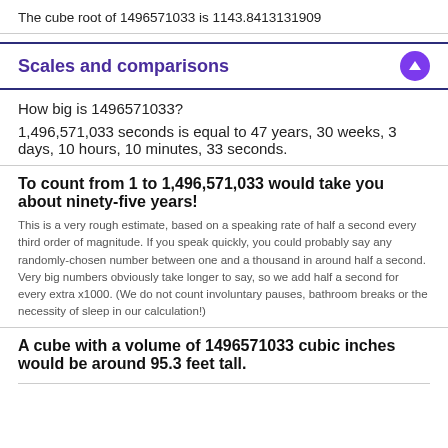The cube root of 1496571033 is 1143.8413131909
Scales and comparisons
How big is 1496571033?
1,496,571,033 seconds is equal to 47 years, 30 weeks, 3 days, 10 hours, 10 minutes, 33 seconds.
To count from 1 to 1,496,571,033 would take you about ninety-five years!
This is a very rough estimate, based on a speaking rate of half a second every third order of magnitude. If you speak quickly, you could probably say any randomly-chosen number between one and a thousand in around half a second. Very big numbers obviously take longer to say, so we add half a second for every extra x1000. (We do not count involuntary pauses, bathroom breaks or the necessity of sleep in our calculation!)
A cube with a volume of 1496571033 cubic inches would be around 95.3 feet tall.